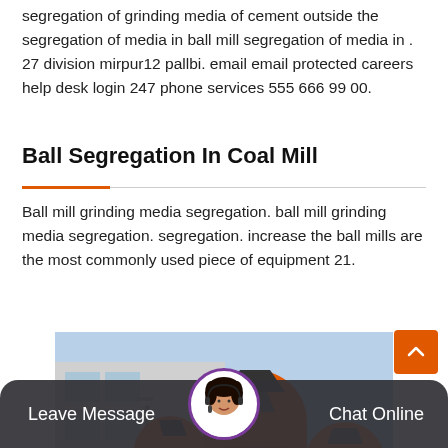segregation of grinding media of cement outside the segregation of media in ball mill segregation of media in . 27 division mirpur12 pallbi. email email protected careers help desk login 247 phone services 555 666 99 00.
Ball Segregation In Coal Mill
Ball mill grinding media segregation. ball mill grinding media segregation. segregation. increase the ball mills are the most commonly used piece of equipment 21.
[Figure (photo): Industrial orange-colored ball mill grinding equipment machines photographed outdoors in front of a factory building. Multiple large cylindrical orange mill machines visible.]
Leave Message   Chat Online